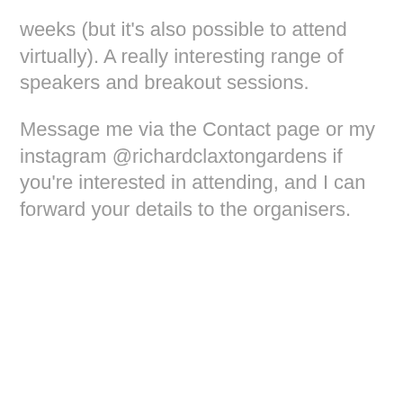weeks (but it's also possible to attend virtually). A really interesting range of speakers and breakout sessions.
Message me via the Contact page or my instagram @richardclaxtongardens if you're interested in attending, and I can forward your details to the organisers.